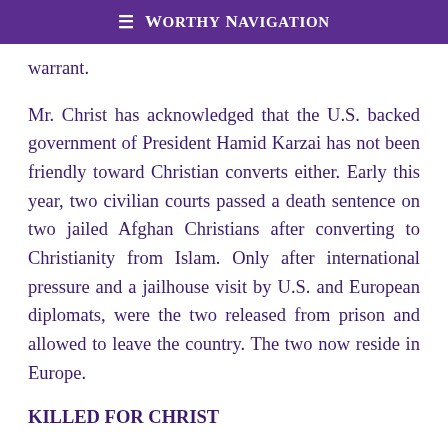≡ Worthy Navigation
warrant.
Mr. Christ has acknowledged that the U.S. backed government of President Hamid Karzai has not been friendly toward Christian converts either. Early this year, two civilian courts passed a death sentence on two jailed Afghan Christians after converting to Christianity from Islam. Only after international pressure and a jailhouse visit by U.S. and European diplomats, were the two released from prison and allowed to leave the country. The two now reside in Europe.
KILLED FOR CHRIST
While this is bad enough, a more recent, and